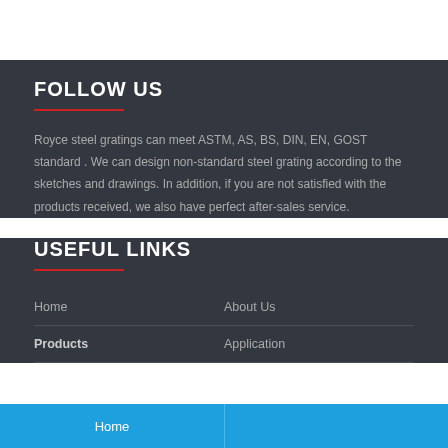FOLLOW US
Royce steel gratings can meet ASTM, AS, BS, DIN, EN, GOST standard . We can design non-standard steel grating according to the sketches and drawings. In addition, if you are not satisfied with the products received, we also have perfect after-sales service.
USEFUL LINKS
Home
About Us
Products
Application
Home